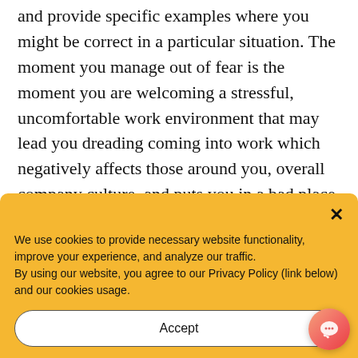and provide specific examples where you might be correct in a particular situation. The moment you manage out of fear is the moment you are welcoming a stressful, uncomfortable work environment that may lead you dreading coming into work which negatively affects those around you, overall company culture, and puts you in a bad place in your company.
We use cookies to provide necessary website functionality, improve your experience, and analyze our traffic. By using our website, you agree to our Privacy Policy (link below) and our cookies usage.
Accept